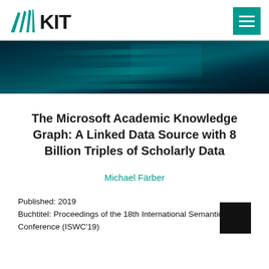KIT logo and menu icon
[Figure (illustration): Dark teal/navy abstract banner image with horizontal streaks of light and a lighter rectangular overlay region in the center-right area]
The Microsoft Academic Knowledge Graph: A Linked Data Source with 8 Billion Triples of Scholarly Data
Michael Färber
Published: 2019
Buchtitel: Proceedings of the 18th International Semantic Web Conference (ISWC'19)